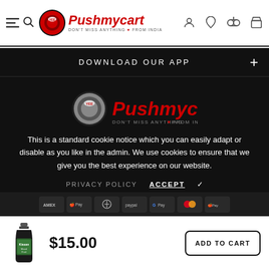[Figure (logo): Pushmycart logo with red button icon and text 'Don't miss anything from India' in header]
DOWNLOAD OUR APP
[Figure (logo): Pushmycart logo (large, on dark background)]
This is a standard cookie notice which you can easily adapt or disable as you like in the admin. We use cookies to ensure that we give you the best experience on our website.
PRIVACY POLICY    ACCEPT ✓
[Figure (other): Payment method icons: Apple Pay, Google Pay, Mastercard, and others]
$15.00
ADD TO CART